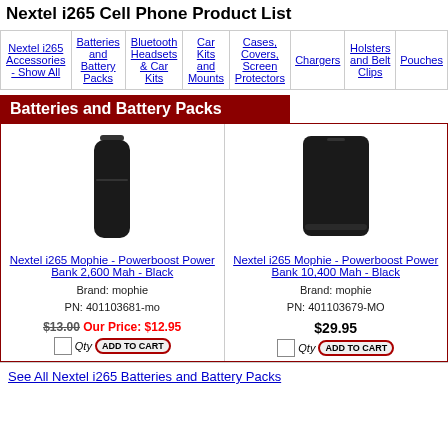Nextel i265 Cell Phone Product List
| Nextel i265 Accessories - Show All | Batteries and Battery Packs | Bluetooth Headsets & Car Kits | Car Kits and Mounts | Cases, Covers, Screen Protectors | Chargers | Holsters and Belt Clips | Pouches |
| --- | --- | --- | --- | --- | --- | --- | --- |
|  |
Batteries and Battery Packs
[Figure (photo): Nextel i265 Mophie Powerboost Power Bank 2,600 Mah - Black, a slim vertical black power bank]
Nextel i265 Mophie - Powerboost Power Bank 2,600 Mah - Black
Brand: mophie
PN: 401103681-mo
$13.00 Our Price: $12.95
[Figure (photo): Nextel i265 Mophie Powerboost Power Bank 10,400 Mah - Black, a wider rectangular black power bank]
Nextel i265 Mophie - Powerboost Power Bank 10,400 Mah - Black
Brand: mophie
PN: 401103679-MO
$29.95
See All Nextel i265 Batteries and Battery Packs